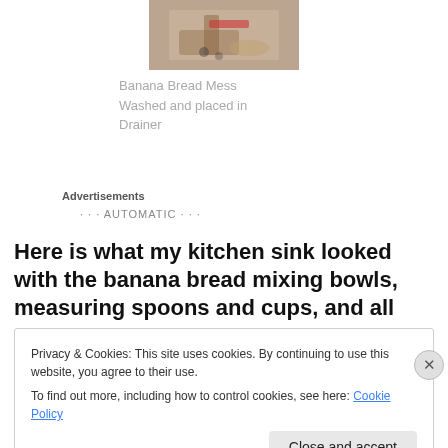[Figure (photo): Photo of kitchen items — banana bread mess with mixing bowls, spoons, and baking tools on a countertop, partially visible at top of page.]
Banana Bread Mess Washed and placed in Drainer
Advertisements
AUTOMATIC
Here is what my kitchen sink looked with the banana bread mixing bowls, measuring spoons and cups, and all the other items I used to prepare banana bread. I had it all
Privacy & Cookies: This site uses cookies. By continuing to use this website, you agree to their use.
To find out more, including how to control cookies, see here: Cookie Policy